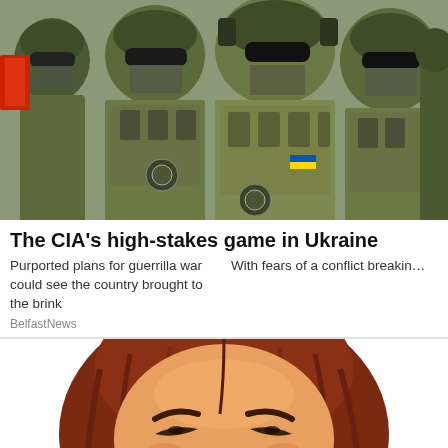[Figure (photo): Group of soldiers in camouflage military gear, tactical vests, helmets, and face masks/goggles, carrying equipment. They wear military patches including a circular unit insignia.]
The CIA's high-stakes game in Ukraine
Purported plans for guerrilla war could see the country brought to the brink  With fears of a conflict breakin…
BelfastNews
[Figure (illustration): Illustrated cartoon face of a woman with reddish-brown hair and an angry/squinting expression. Partial view showing eyes and forehead, with a small leaf/flag motif visible near the mouth area.]